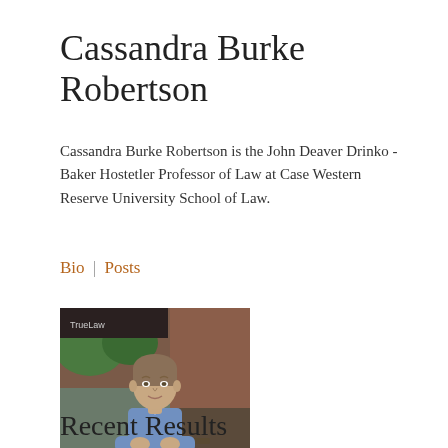Cassandra Burke Robertson
Cassandra Burke Robertson is the John Deaver Drinko - Baker Hostetler Professor of Law at Case Western Reserve University School of Law.
Bio | Posts
[Figure (photo): Photo of a man in a blue shirt seated at a table outdoors, in front of a brick building with green foliage visible in the background.]
Recent Results